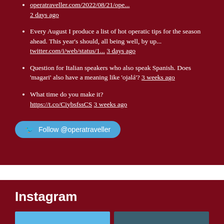operatraveller.com/2022/08/21/ope... 2 days ago
Every August I produce a list of hot operatic tips for the season ahead. This year's should, all being well, by up... twitter.com/i/web/status/1... 3 days ago
Question for Italian speakers who also speak Spanish. Does 'magari' also have a meaning like 'ojalá'? 3 weeks ago
What time do you make it? https://t.co/CiybsfssCS 3 weeks ago
Follow @operatraveller
Instagram
[Figure (photo): Two Instagram thumbnail images partially visible at the bottom of the page]